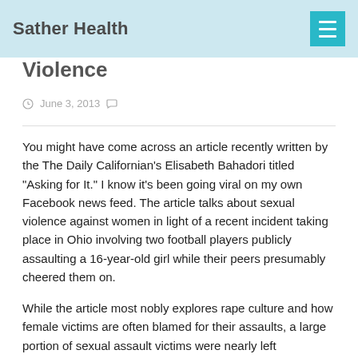Sather Health
Violence
June 3, 2013
You might have come across an article recently written by the The Daily Californian's Elisabeth Bahadori titled “Asking for It.” I know it’s been going viral on my own Facebook news feed. The article talks about sexual violence against women in light of a recent incident taking place in Ohio involving two football players publicly assaulting a 16-year-old girl while their peers presumably cheered them on.
While the article most nobly explores rape culture and how female victims are often blamed for their assaults, a large portion of sexual assault victims were nearly left